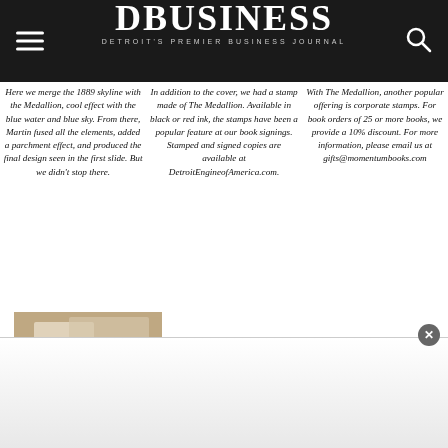DBUSINESS — Detroit's Premier Business Journal
Here we merge the 1889 skyline with the Medallion, cool effect with the blue water and blue sky. From there, Martin fused all the elements, added a parchment effect, and produced the final design seen in the first slide. But we didn't stop there.
In addition to the cover, we had a stamp made of The Medallion. Available in black or red ink, the stamps have been a popular feature at our book signings. Stamped and signed copies are available at DetroitEngineofAmerica.com.
With The Medallion, another popular offering is corporate stamps. For book orders of 25 or more books, we provide a 10% discount. For more information, please email us at gifts@momentumbooks.com
[Figure (photo): Photo of book signing merchandise including stamps and books on a table, with a circular medallion logo visible]